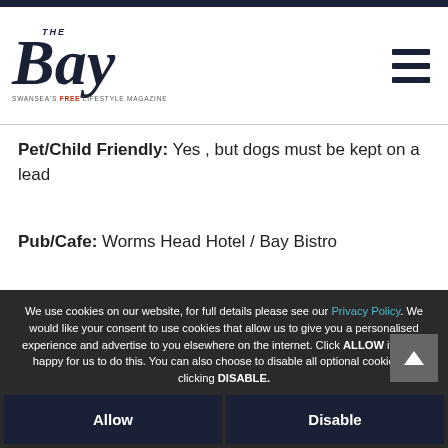The Bay – Swansea's Free Lifestyle Magazine header bar
[Figure (logo): The Bay magazine logo — cursive 'The Bay' in navy with tagline 'Swansea's Free Lifestyle Magazine' and a hamburger menu icon]
Pet/Child Friendly: Yes , but dogs must be kept on a lead
Pub/Cafe: Worms Head Hotel / Bay Bistro
We use cookies on our website, for full details please see our Privacy Policy. We would like your consent to use cookies that allow us to give you a personalised experience and advertise to you elsewhere on the internet. Click ALLOW if you're happy for us to do this. You can also choose to disable all optional cookies by clicking DISABLE.